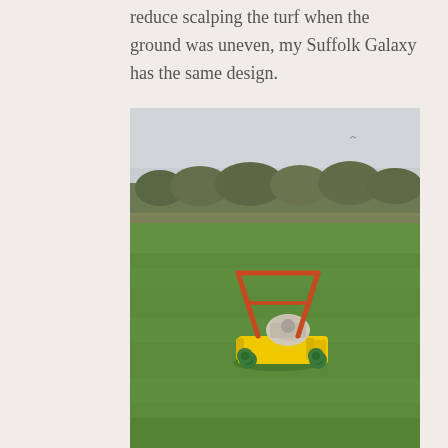reduce scalping the turf when the ground was uneven, my Suffolk Galaxy has the same design.
[Figure (photo): A yellow rotary lawnmower with an orange handle frame and green wheels, sitting on a large well-manicured green lawn. Trees and shrubs visible in the background under an overcast sky.]